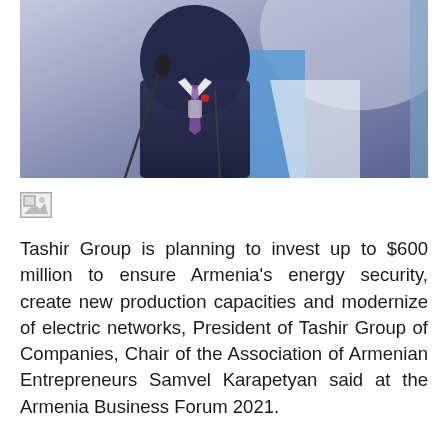[Figure (photo): A man in a dark suit speaking at a podium at a conference or forum, with a blue decorative panel visible behind him and a microphone in the foreground.]
[Figure (photo): Small broken/placeholder image icon]
Tashir Group is planning to invest up to $600 million to ensure Armenia's energy security, create new production capacities and modernize of electric networks, President of Tashir Group of Companies, Chair of the Association of Armenian Entrepreneurs Samvel Karapetyan said at the Armenia Business Forum 2021.